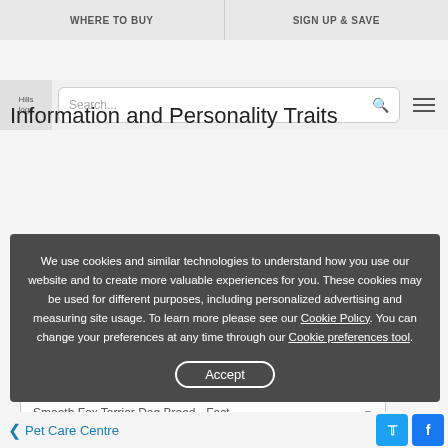WHERE TO BUY | SIGN UP & SAVE
[Figure (logo): Hills logo in search bar area]
Search...
Information and Personality Traits
Smooth Fox Terrier Dog Breed - Fact...
We use cookies and similar technologies to understand how you use our website and to create more valuable experiences for you. These cookies may be used for different purposes, including personalized advertising and measuring site usage. To learn more please see our Cookie Policy. You can change your preferences at any time through our Cookie preferences tool.
Accept
Pet Care Centre